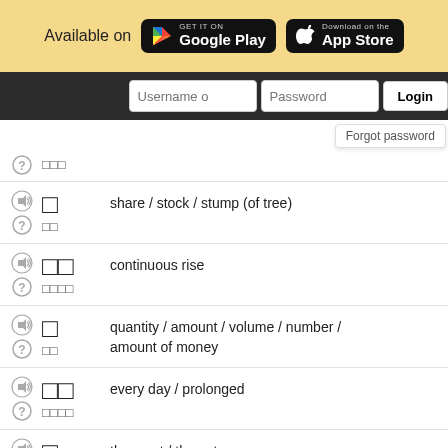[Figure (screenshot): App store badges - Google Play and App Store with 'Available on' text]
[Figure (screenshot): Login bar with Username, Password fields and Login button, Forgot password dropdown]
Chinese character(s) - share / stock / stump (of tree)
Chinese character(s) - continuous rise
Chinese character(s) - quantity / amount / volume / number / amount of money
Chinese character(s) - every day / prolonged
Chinese character(s) - the most / the extreme
Chinese character(s) - high price